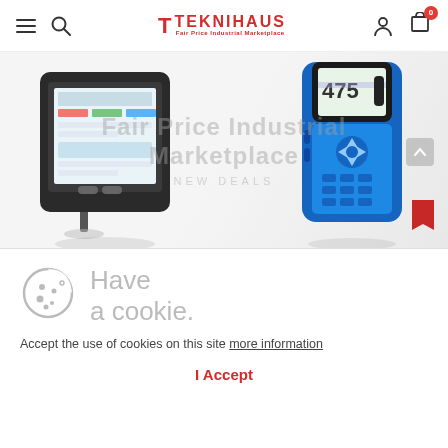Teknihaus - Fair Price Industrial Marketplace navigation bar with hamburger menu, search, logo, user icon, and cart (0)
[Figure (photo): Banner showing two industrial handheld devices: a black tablet-style device with a colorful touchscreen display on the left, and a blue/black handheld communicator device labeled '475' on the right, on a white/grey gradient background]
Have a cookie
Accept the use of cookies on this site more information
I Accept